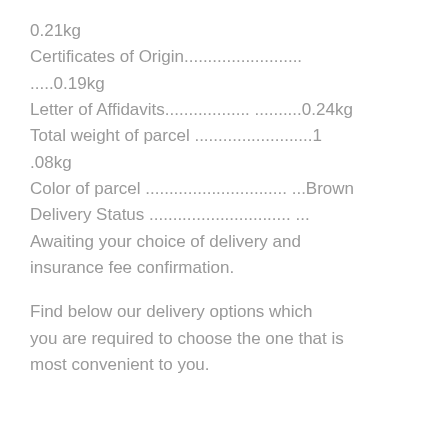0.21kg
Certificates of Origin.........................
.....0.19kg
Letter of Affidavits.................. ..........0.24kg
Total weight of parcel .........................1
.08kg
Color of parcel .............................. ...Brown
Delivery Status .............................. ...
Awaiting your choice of delivery and insurance fee confirmation.
Find below our delivery options which you are required to choose the one that is most convenient to you.